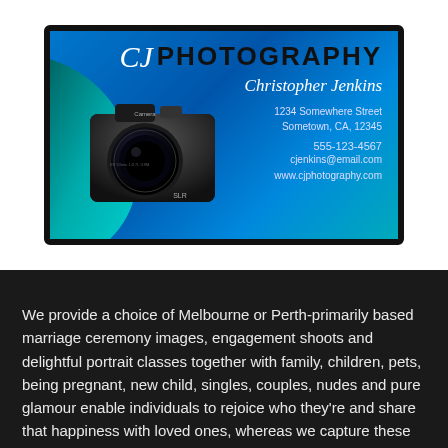[Figure (illustration): Photography business card for CJ Photography by Christopher Jenkins. Blue gradient background with teal wave design on left, camera image (SLR), script CJ logo, business name PHOTOGRAPHY, contact info: 1234 Somewhere Street, Sometown, CA, 12345, 555-123-4567, cjenkins@email.com, www.cjphotography.com]
We provide a choice of Melbourne or Perth-primarily based marriage ceremony images, engagement shoots and delightful portrait classes together with family, children, pets, being pregnant, new child, singles, couples, nudes and pure glamour enable individuals to rejoice who they're and share that happiness with loved ones, whereas we capture these treasured